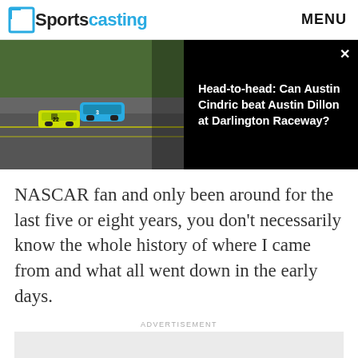Sportscasting  MENU
[Figure (screenshot): NASCAR race cars on track (banner image with dark overlay panel showing article title)]
Head-to-head: Can Austin Cindric beat Austin Dillon at Darlington Raceway?
NASCAR fan and only been around for the last five or eight years, you don't necessarily know the whole history of where I came from and what all went down in the early days.
ADVERTISEMENT